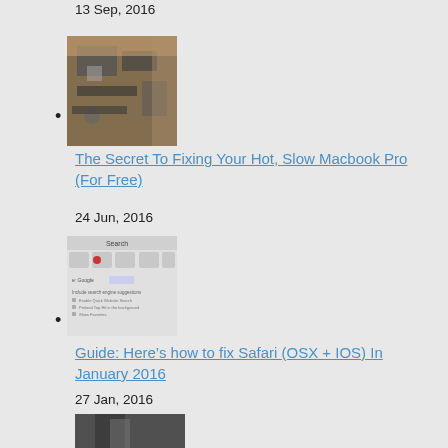13 Sep, 2016
[Figure (photo): Photo of a MacBook Pro logic board/circuit board being held, showing internal components]
The Secret To Fixing Your Hot, Slow Macbook Pro (For Free)
24 Jun, 2016
[Figure (screenshot): Screenshot of Safari browser preferences/search settings on OSX]
Guide: Here’s how to fix Safari (OSX + IOS) In January 2016
27 Jan, 2016
[Figure (photo): Photo partially visible at bottom of page]